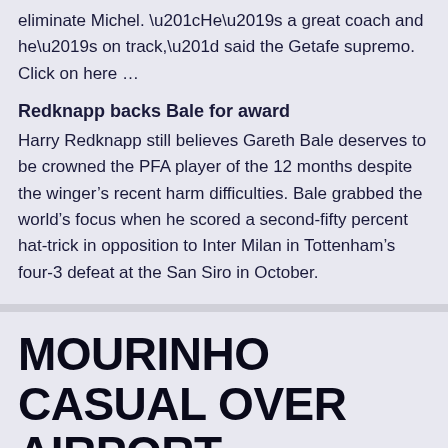eliminate Michel. “He’s a great coach and he’s on track,” said the Getafe supremo.   Click on here …
Redknapp backs Bale for award
Harry Redknapp still believes Gareth Bale deserves to be crowned the PFA player of the 12 months despite the winger’s recent harm difficulties. Bale grabbed the world’s focus when he scored a second-fifty percent hat-trick in opposition to Inter Milan in Tottenham’s four-3 defeat at the San Siro in October.
MOURINHO CASUAL OVER AIRPORT INCIDENT
MOURINHO Informal About AIRPORT INCIDENT